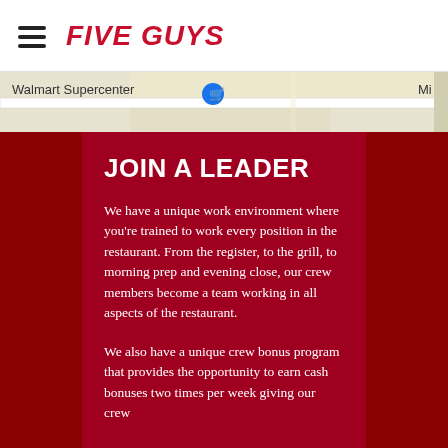FIVE GUYS
[Figure (map): Partial map screenshot showing Walmart Supercenter location with a map pin icon]
JOIN A LEADER
We have a unique work environment where you're trained to work every position in the restaurant. From the register, to the grill, to morning prep and evening close, our crew members become a team working in all aspects of the restaurant.
We also have a unique crew bonus program that provides the opportunity to earn cash bonuses two times per week giving our crew